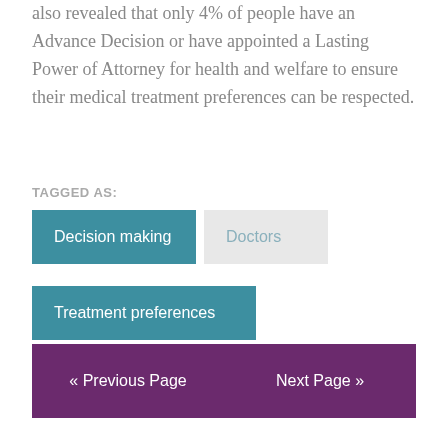also revealed that only 4% of people have an Advance Decision or have appointed a Lasting Power of Attorney for health and welfare to ensure their medical treatment preferences can be respected.
TAGGED AS:
Decision making
Doctors
Treatment preferences
« Previous Page
Next Page »